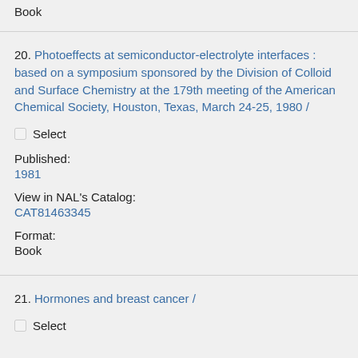Book
20. Photoeffects at semiconductor-electrolyte interfaces : based on a symposium sponsored by the Division of Colloid and Surface Chemistry at the 179th meeting of the American Chemical Society, Houston, Texas, March 24-25, 1980 /
Select
Published:
1981
View in NAL's Catalog:
CAT81463345
Format:
Book
21. Hormones and breast cancer /
Select